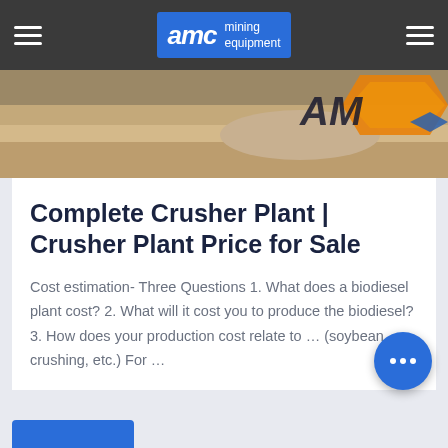AMC mining equipment
[Figure (photo): Outdoor mining site photo with sandy/rocky ground and AMC logo/branding visible on the right side with orange hexagon shape]
Complete Crusher Plant | Crusher Plant Price for Sale
Cost estimation- Three Questions 1. What does a biodiesel plant cost? 2. What will it cost you to produce the biodiesel? 3. How does your production cost relate to … (soybean crushing, etc.) For …